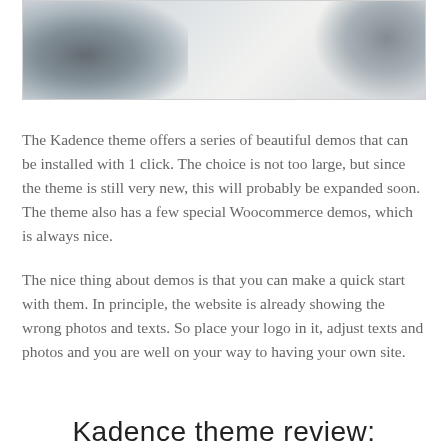[Figure (photo): Blurred screenshot or photo showing dark blurred objects on a light background, cropped at the top of the page.]
The Kadence theme offers a series of beautiful demos that can be installed with 1 click. The choice is not too large, but since the theme is still very new, this will probably be expanded soon. The theme also has a few special Woocommerce demos, which is always nice.
The nice thing about demos is that you can make a quick start with them. In principle, the website is already showing the wrong photos and texts. So place your logo in it, adjust texts and photos and you are well on your way to having your own site.
Kadence theme review: